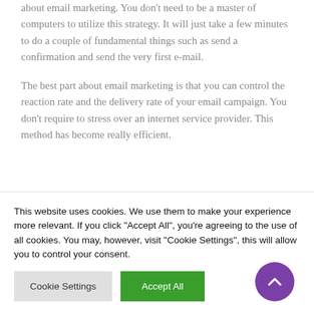about email marketing. You don't need to be a master of computers to utilize this strategy. It will just take a few minutes to do a couple of fundamental things such as send a confirmation and send the very first e-mail.
The best part about email marketing is that you can control the reaction rate and the delivery rate of your email campaign. You don't require to stress over an internet service provider. This method has become really efficient.
This website uses cookies. We use them to make your experience more relevant. If you click "Accept All", you're agreeing to the use of all cookies. You may, however, visit "Cookie Settings", this will allow you to control your consent.